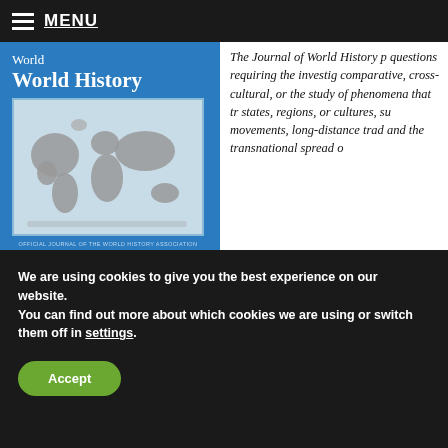MENU
[Figure (illustration): Cover of the Journal of World History, Volume 29, Number 1, March 2018. Blue cover with title 'World History' and a world map image. States 'Official Journal of the World History Association'.]
The Journal of World History p questions requiring the investig comparative, cross-cultural, or the study of phenomena that tr states, regions, or cultures, su movements, long-distance trad and the transnational spread o
We are using cookies to give you the best experience on our website.
You can find out more about which cookies we are using or switch them off in settings.
Accept